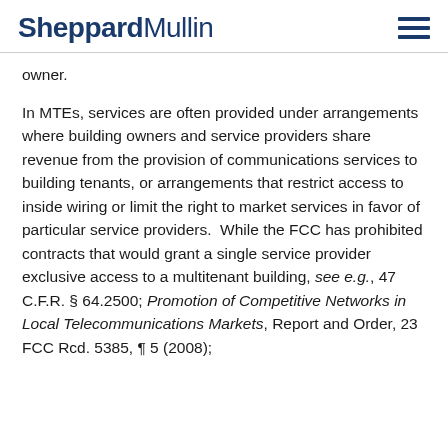SheppardMullin
owner.
In MTEs, services are often provided under arrangements where building owners and service providers share revenue from the provision of communications services to building tenants, or arrangements that restrict access to inside wiring or limit the right to market services in favor of particular service providers.  While the FCC has prohibited contracts that would grant a single service provider exclusive access to a multitenant building, see e.g., 47 C.F.R. § 64.2500; Promotion of Competitive Networks in Local Telecommunications Markets, Report and Order, 23 FCC Rcd. 5385, ¶ 5 (2008);